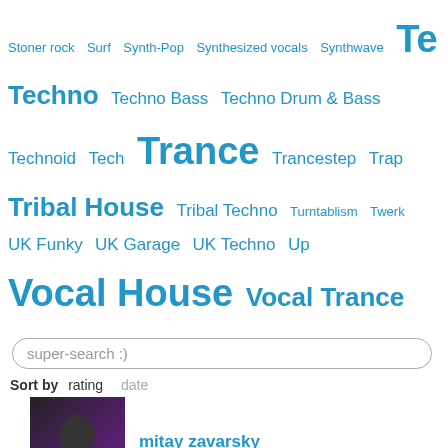Stoner rock  Surf  Synth-Pop  Synthesized vocals  Synthwave  Te  Techno  Techno Bass  Techno Drum & Bass  Technoid  Tech  Trance  Trancestep  Trap  Tribal House  Tribal Techno  Turntablism  Twerk  UK Funky  UK Garage  UK Techno  Up  Vocal House  Vocal Trance  Vocals  Voice Fx  West Coast  Yorkshire Bleeps and Bass  Аналитика  Интервью  Новости
super-search :)
Sort by  rating  date
mitay zavarsky
Lika Balakina Deep House
Quantum Beats Project Ambient
b.d.v Vocal House